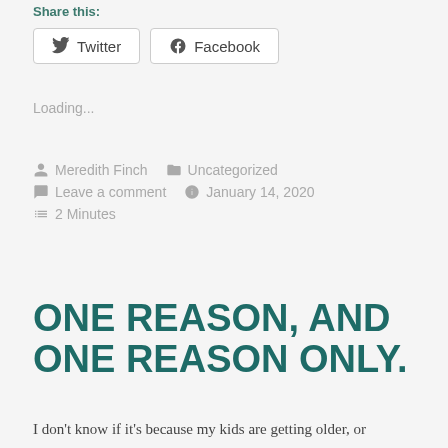Share this:
Twitter  Facebook
Loading...
Meredith Finch   Uncategorized   Leave a comment   January 14, 2020   2 Minutes
ONE REASON, AND ONE REASON ONLY.
I don’t know if it’s because my kids are getting older, or